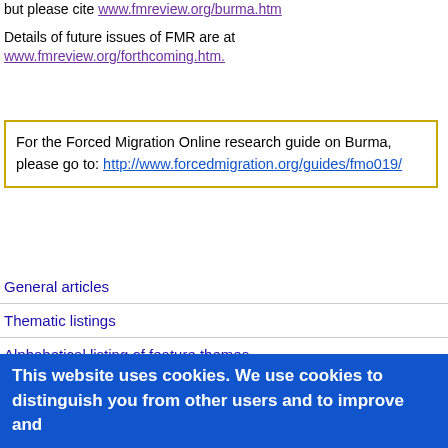but please cite www.fmreview.org/burma.htm
Details of future issues of FMR are at www.fmreview.org/forthcoming.htm.
For the Forced Migration Online research guide on Burma, please go to: http://www.forcedmigration.org/guides/fmo019/
General articles
Thematic listings
Alphabetical listing of feature themes
RPN (FMR predecessor)
Additional languages
Behind the images
This website uses cookies. We use cookies to distinguish you from other users and to improve and